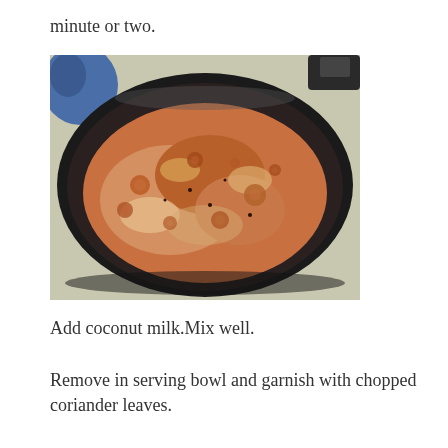minute or two.
[Figure (photo): A dark non-stick frying pan seen from above, containing a bubbling reddish-brown curry or sauce with circular patterns on the surface. Kitchen background visible.]
Add coconut milk.Mix well.
Remove in serving bowl and garnish with chopped coriander leaves.